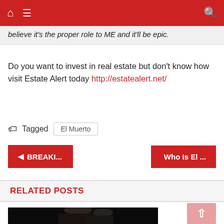Navigation bar with home, menu, and search icons
believe it's the proper role to ME and it'll be epic.
Do you want to invest in real estate but don't know how visit Estate Alert today http://estatealert.net/
Tagged  El Muerto
◄ BREAKI...
Who Is El ...
RELATED POSTS
[Figure (photo): Portrait photo of a man and woman with dark backgrounds, partial view]